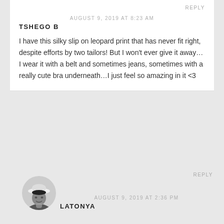REPLY
AUGUST 9, 2019 AT 8:23 AM
TSHEGO B
I have this silky slip on leopard print that has never fit right, despite efforts by two tailors! But I won't ever give it away…I wear it with a belt and sometimes jeans, sometimes with a really cute bra underneath…I just feel so amazing in it <3
[Figure (photo): Black and white portrait photo of a woman wearing a wide-brimmed white hat]
REPLY
AUGUST 9, 2019 AT 2:36 PM
LATONYA